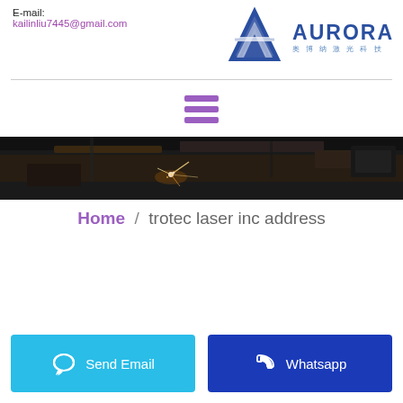E-mail: kailinliu7445@gmail.com
[Figure (logo): Aurora laser company logo with blue triangle mountain graphic and Chinese text 奥博纳激光科技]
[Figure (illustration): Hamburger menu icon with three purple horizontal bars]
[Figure (photo): Dark banner photo showing laser cutting machine in operation with sparks]
Home / trotec laser inc address
Send Email
Whatsapp